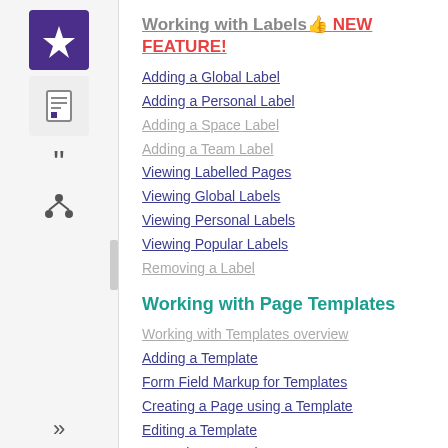Working with Labels 👍 NEW FEATURE!
Adding a Global Label
Adding a Personal Label
Adding a Space Label
Adding a Team Label
Viewing Labelled Pages
Viewing Global Labels
Viewing Personal Labels
Viewing Popular Labels
Removing a Label
Working with Page Templates
Working with Templates overview
Adding a Template
Form Field Markup for Templates
Creating a Page using a Template
Editing a Template
Removing a Template